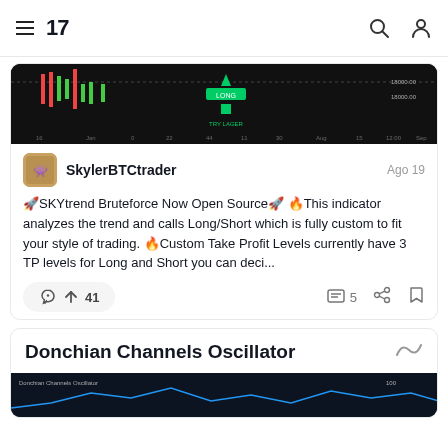TradingView navigation header with hamburger menu, logo, search and profile icons
[Figure (screenshot): Dark trading chart showing candlestick data with LONG label and price levels around 18000]
SkylerBTCtrader   Ago 19
🚀SKYtrend Bruteforce Now Open Source🚀 🔥This indicator analyzes the trend and calls Long/Short which is fully custom to fit your style of trading. 🔥Custom Take Profit Levels currently have 3 TP levels for Long and Short you can deci...
🚀 41   💬 5
Donchian Channels Oscillator
[Figure (screenshot): Dark chart preview for Donchian Channels Oscillator indicator]